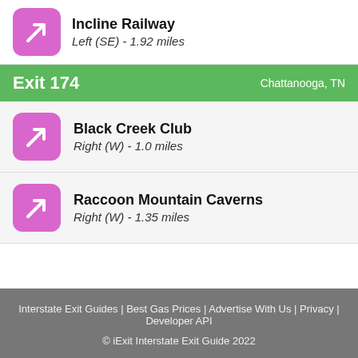Incline Railway — Left (SE) - 1.92 miles
Exit 174 — Chattanooga, TN
Black Creek Club — Right (W) - 1.0 miles
Raccoon Mountain Caverns — Right (W) - 1.35 miles
Interstate Exit Guides | Best Gas Prices | Advertise With Us | Privacy | Developer API
© iExit Interstate Exit Guide 2022